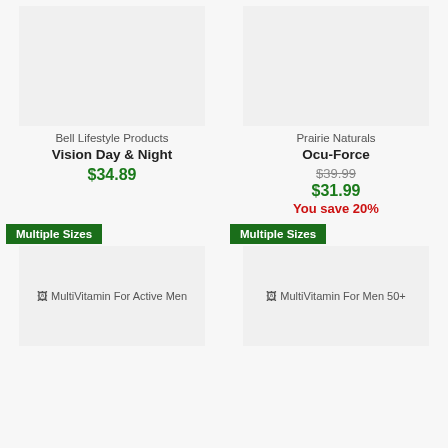[Figure (photo): Product image placeholder for Bell Lifestyle Products Vision Day & Night]
Bell Lifestyle Products
Vision Day & Night
$34.89
[Figure (photo): Product image placeholder for Prairie Naturals Ocu-Force]
Prairie Naturals
Ocu-Force
$39.99
$31.99
You save 20%
Multiple Sizes
[Figure (photo): Product image for MultiVitamin For Active Men]
Multiple Sizes
[Figure (photo): Product image for MultiVitamin For Men 50+]